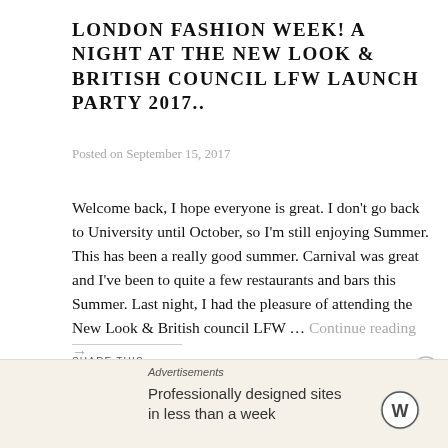LONDON FASHION WEEK! A NIGHT AT THE NEW LOOK & BRITISH COUNCIL LFW LAUNCH PARTY 2017..
Posted on September 15, 2017
Welcome back, I hope everyone is great. I don't go back to University until October, so I'm still enjoying Summer. This has been a really good summer. Carnival was great and I've been to quite a few restaurants and bars this Summer. Last night, I had the pleasure of attending the New Look & British council LFW … Continue reading →
SHARE THIS :
[Figure (other): Twitter share button (blue circle with bird icon), Facebook share button (blue circle with f icon), Print button (grey circle with printer icon)]
Advertisements
Professionally designed sites in less than a week